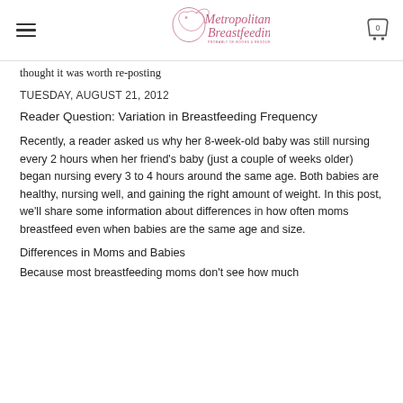Metropolitan Breastfeeding [logo] [menu] [cart: 0]
thought it was worth re-posting
TUESDAY, AUGUST 21, 2012
Reader Question: Variation in Breastfeeding Frequency
Recently, a reader asked us why her 8-week-old baby was still nursing every 2 hours when her friend's baby (just a couple of weeks older) began nursing every 3 to 4 hours around the same age. Both babies are healthy, nursing well, and gaining the right amount of weight. In this post, we'll share some information about differences in how often moms breastfeed even when babies are the same age and size.
Differences in Moms and Babies
Because most breastfeeding moms don't see how much